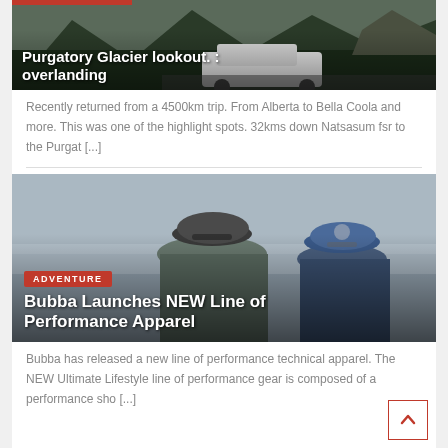[Figure (photo): Dark outdoor scene with a white SUV/4WD vehicle parked on a mountain road with trees and rocky landscape in the background. Title overlay: 'Purgatory Glacier lookout. : overlanding']
Recently returned from a 4500km trip. From Alberta to Bella Coola and more. This was one of the highlight spots. 32kms down Natsasum fsr to the Purgat [...]
[Figure (photo): Two people from behind looking out at a hazy landscape. One wearing a grey long-sleeve top, one wearing a blue cap and blue jacket. ADVENTURE tag overlay with title 'Bubba Launches NEW Line of Performance Apparel']
Bubba has released a new line of performance technical apparel. The NEW Ultimate Lifestyle line of performance gear is composed of a performance sho [...]